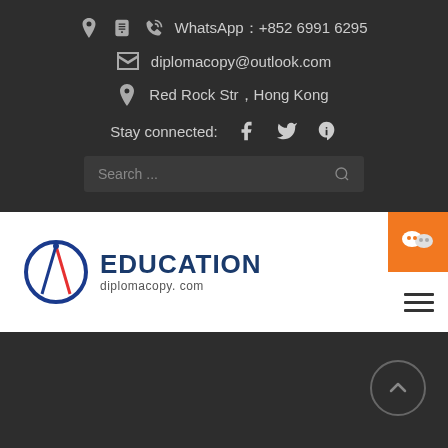WhatsApp：+852 6991 6295
diplomacopy@outlook.com
Red Rock Str，Hong Kong
Stay connected:
[Figure (screenshot): Search bar with placeholder text 'Search ...' and magnifying glass icon]
[Figure (logo): Education diplomacopy.com logo with circular blue/red compass icon and bold blue EDUCATION text]
[Figure (infographic): Orange WeChat button top right and hamburger menu icon]
BUY FAKE UNIVERSITY OF